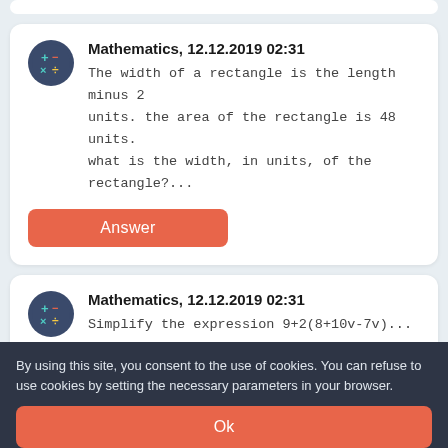Mathematics, 12.12.2019 02:31
The width of a rectangle is the length minus 2 units. the area of the rectangle is 48 units. what is the width, in units, of the rectangle?...
Answer
Mathematics, 12.12.2019 02:31
Simplify the expression 9+2(8+10v-7v)...
Answer
By using this site, you consent to the use of cookies. You can refuse to use cookies by setting the necessary parameters in your browser.
Ok